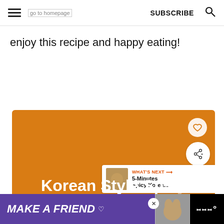go to homepage  SUBSCRIBE  🔍
enjoy this recipe and happy eating!
[Figure (other): Orange promotional card for 'Korean Style Spicy Beef Tacos' recipe with heart and share buttons, and a 'What's Next: 5-Minutes Spicy Korea...' overlay panel]
[Figure (other): Advertisement bar: MAKE A FRIEND with dog image and heart icon, purple and black background]